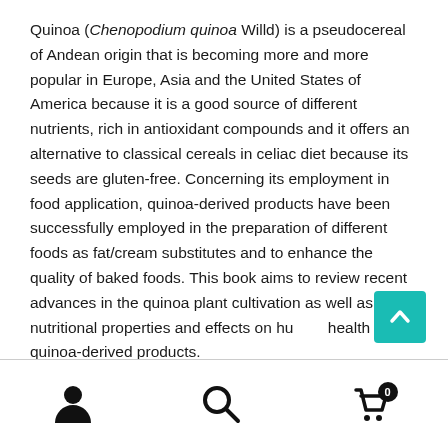Quinoa (Chenopodium quinoa Willd) is a pseudocereal of Andean origin that is becoming more and more popular in Europe, Asia and the United States of America because it is a good source of different nutrients, rich in antioxidant compounds and it offers an alternative to classical cereals in celiac diet because its seeds are gluten-free. Concerning its employment in food application, quinoa-derived products have been successfully employed in the preparation of different foods as fat/cream substitutes and to enhance the quality of baked foods. This book aims to review recent advances in the quinoa plant cultivation as well as the nutritional properties and effects on human health of quinoa-derived products.
Navigation footer with user, search, and cart icons